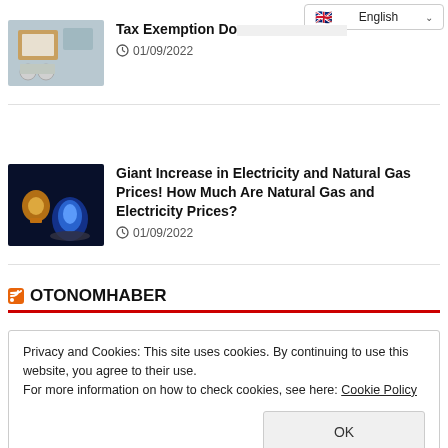[Figure (screenshot): Language selector dropdown in top-right corner showing English with flag icon]
[Figure (photo): Thumbnail image of shopping cart with boxes and a laptop, representing tax exemption article]
Tax Exemption Do...
01/09/2022
[Figure (photo): Thumbnail image of a light bulb and gas flame representing electricity and natural gas prices article]
Giant Increase in Electricity and Natural Gas Prices! How Much Are Natural Gas and Electricity Prices?
01/09/2022
OTONOMHABER
Privacy and Cookies: This site uses cookies. By continuing to use this website, you agree to their use.
For more information on how to check cookies, see here: Cookie Policy